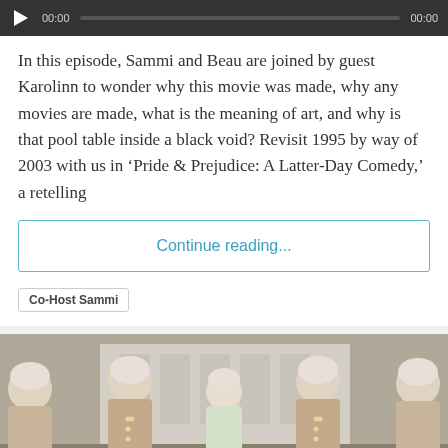[Figure (screenshot): Audio player bar with play button, progress bar, and timestamps showing 00:00 on both sides]
In this episode, Sammi and Beau are joined by guest Karolinn to wonder why this movie was made, why any movies are made, what is the meaning of art, and why is that pool table inside a black void? Revisit 1995 by way of 2003 with us in ‘Pride & Prejudice: A Latter-Day Comedy,’ a retelling
Continue reading...
Co-Host Sammi
[Figure (photo): Group of people dressed in 18th century period costume including white powdered wigs and ornate jackets, standing in front of a building]